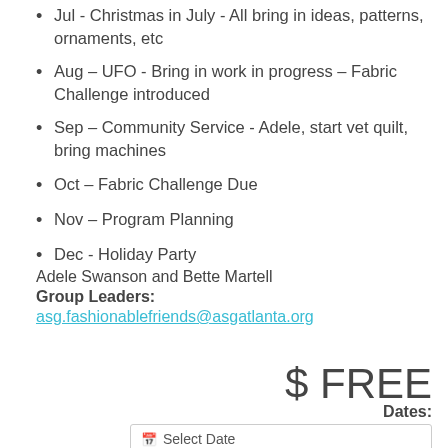Jul - Christmas in July - All bring in ideas, patterns, ornaments, etc
Aug – UFO - Bring in work in progress – Fabric Challenge introduced
Sep – Community Service - Adele, start vet quilt, bring machines
Oct – Fabric Challenge Due
Nov – Program Planning
Dec - Holiday Party
Adele Swanson and Bette Martell
Group Leaders:
asg.fashionablefriends@asgatlanta.org
$ FREE
Dates:
Select Date